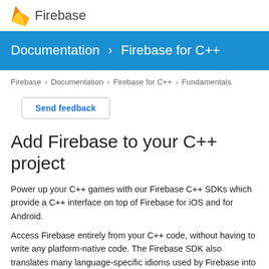[Figure (logo): Firebase logo: orange flame icon followed by text 'Firebase']
Documentation > Firebase for C++
Firebase > Documentation > Firebase for C++ > Fundamentals
Send feedback
Add Firebase to your C++ project
Power up your C++ games with our Firebase C++ SDKs which provide a C++ interface on top of Firebase for iOS and for Android.
Access Firebase entirely from your C++ code, without having to write any platform-native code. The Firebase SDK also translates many language-specific idioms used by Firebase into a form more familiar to C++...